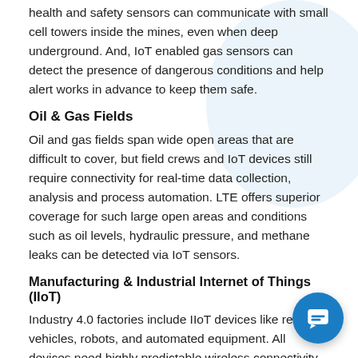health and safety sensors can communicate with small cell towers inside the mines, even when deep underground. And, IoT enabled gas sensors can detect the presence of dangerous conditions and help alert works in advance to keep them safe.
Oil & Gas Fields
Oil and gas fields span wide open areas that are difficult to cover, but field crews and IoT devices still require connectivity for real-time data collection, analysis and process automation. LTE offers superior coverage for such large open areas and conditions such as oil levels, hydraulic pressure, and methane leaks can be detected via IoT sensors.
Manufacturing & Industrial Internet of Things (IIoT)
Industry 4.0 factories include IIoT devices like remote vehicles, robots, and automated equipment. All devices need highly predictable wireless connectivity that can be supported with service level agreements